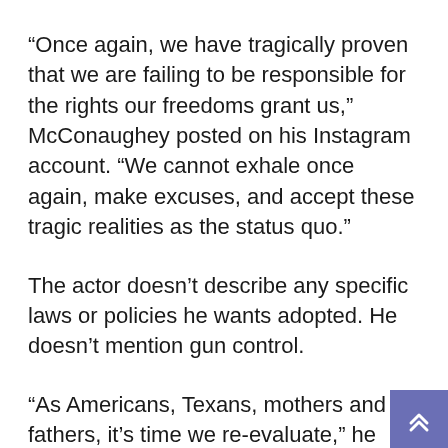“Once again, we have tragically proven that we are failing to be responsible for the rights our freedoms grant us,” McConaughey posted on his Instagram account. “We cannot exhale once again, make excuses, and accept these tragic realities as the status quo.”
The actor doesn’t describe any specific laws or policies he wants adopted. He doesn’t mention gun control.
“As Americans, Texans, mothers and fathers, it’s time we re-evaluate,” he wrote. “We have to rearrange our values and find a common ground.”
“This is an epidemic we can control, and whichever side of the aisle we may stand on, we all know we can do better. We must do better. Action must be taken so that no